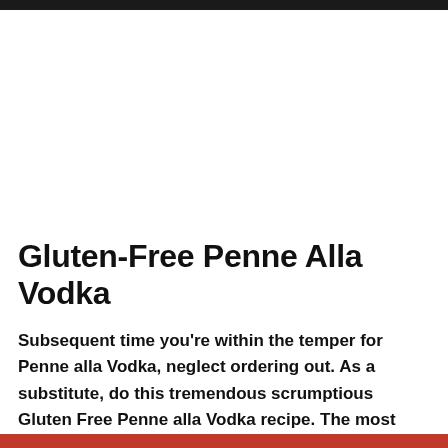Gluten-Free Penne Alla Vodka
Subsequent time you're within the temper for Penne alla Vodka, neglect ordering out. As a substitute, do this tremendous scrumptious Gluten Free Penne alla Vodka recipe. The most effective half is you can also make it with Schar Gluten-Free Penne pasta and by no means